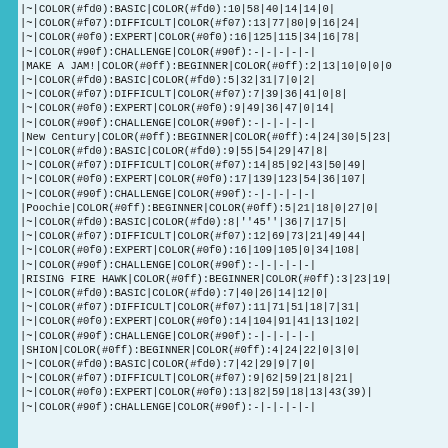Wiki markup table data showing game difficulty levels with COLOR codes for BEGINNER, BASIC, DIFFICULT, EXPERT, and CHALLENGE categories for songs including MAKE A JAM!, New Century, Poochie, RISING FIRE HAWK, and SHION.